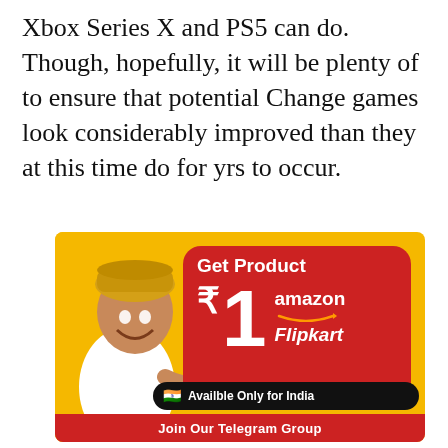Xbox Series X and PS5 can do. Though, hopefully, it will be plenty of to ensure that potential Change games look considerably improved than they at this time do for yrs to occur.
[Figure (infographic): Advertisement banner with yellow background showing a man in white t-shirt and yellow hat pointing excitedly at a red rounded rectangle card. The card says 'Get Product ₹1 amazon Flipkart'. Below is a black pill-shaped bar reading '🇮🇳 Availble Only for India'. At the bottom is a red bar with text 'Join Our Telegram Group'.]